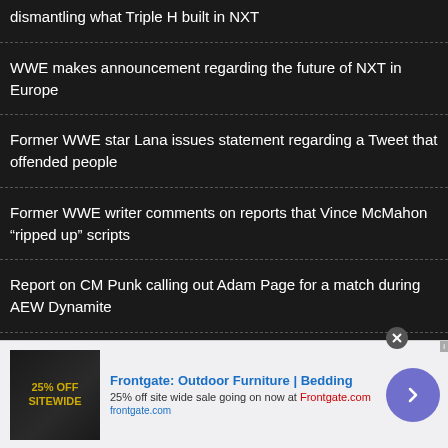dismantling what Triple H built in NXT
WWE makes announcement regarding the future of NXT in Europe
Former WWE star Lana issues statement regarding a Tweet that offended people
Former WWE writer comments on reports that Vince McMahon “ripped up” scripts
Report on CM Punk calling out Adam Page for a match during AEW Dynamite
AEW Rampage spoilers for the August 19th 2022 edition
Video: What Kenny Omega said to fans after his return to
[Figure (other): Advertisement banner for Frontgate: Outdoor Furniture | Bedding. 25% off site wide sale going on now at Frontgate.com. Shows product image with '25% OFF SITEWIDE' text, a forward arrow button, and a close (X) button.]